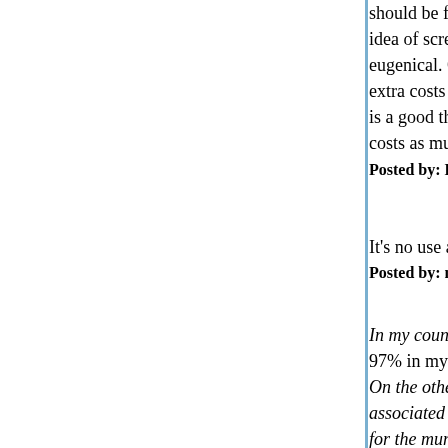should be financed per woman is a very delicate idea of screening away abnormal foeti from the w... eugenical. On the other hand, as it is the municipa... extra costs of associated with the DS baby, reduc... is a good thing for the municipal finances. Basical... costs as much as having DS babies.
Posted by: Lurker | January 24, 2008 at 07:43 AM
It's no use arguing with Jes in good faith - see ab...
Posted by: novakant | January 24, 2008 at 08:14 AM
In my country, 90% of abortions occur with the rea...
97% in my country. That's the proportion carried o...
On the other hand, as it is the municipality which ... associated with the DS baby, reducing their numb... for the municipal finances. Basically, no amount o... as having DS babies.
Now that's an obscene piece of calculation for the...
Posted by: Jesurgislac | January 24, 2008 at 08:18 AM